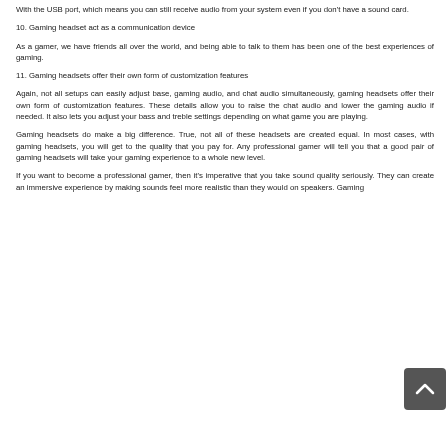With the USB port, which means you can still receive audio from your system even if you don't have a sound card.
10. Gaming headset act as a communication device
As a gamer, we have friends all over the world, and being able to talk to them has been one of the best experiences of gaming.
11. Gaming headsets offer their own form of customization features
Again, not all setups can easily adjust base, gaming audio, and chat audio simultaneously, gaming headsets offer their own form of customization features. These details allow you to raise the chat audio and lower the gaming audio if needed. It also lets you adjust your bass and treble settings depending on what game you are playing.
Gaming headsets do make a big difference. True, not all of these headsets are created equal. In most cases, with gaming headsets, you will get to the quality that you pay for. Any professional gamer will tell you that a good pair of gaming headsets will take your gaming experience to a whole new level.
If you want to become a professional gamer, then it’s imperative that you take sound quality seriously. They can create an immersive experience by making sounds feel more realistic than they would on speakers. Gaming